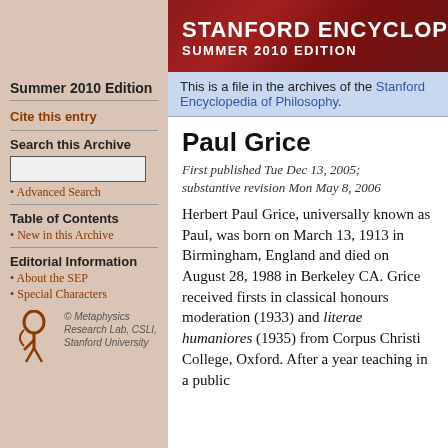Stanford Encyclopedia of Philosophy — Summer 2010 Edition
Summer 2010 Edition
Cite this entry
Search this Archive
• Advanced Search
Table of Contents
• New in this Archive
Editorial Information
• About the SEP
• Special Characters
[Figure (logo): Metaphysics Research Lab, CSLI, Stanford University logo — stylized figure in reddish-brown]
© Metaphysics Research Lab, CSLI, Stanford University
This is a file in the archives of the Stanford Encyclopedia of Philosophy.
Paul Grice
First published Tue Dec 13, 2005; substantive revision Mon May 8, 2006
Herbert Paul Grice, universally known as Paul, was born on March 13, 1913 in Birmingham, England and died on August 28, 1988 in Berkeley CA. Grice received firsts in classical honours moderation (1933) and literae humaniores (1935) from Corpus Christi College, Oxford. After a year teaching in a public